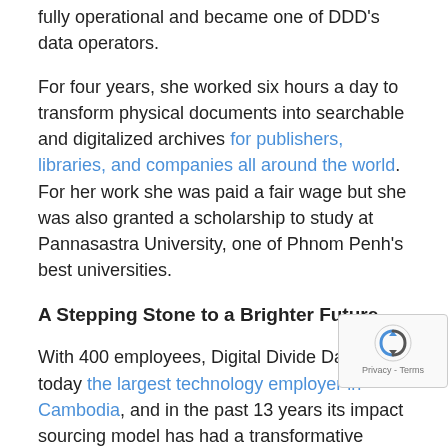fully operational and became one of DDD's data operators.
For four years, she worked six hours a day to transform physical documents into searchable and digitalized archives for publishers, libraries, and companies all around the world. For her work she was paid a fair wage but she was also granted a scholarship to study at Pannasastra University, one of Phnom Penh's best universities.
A Stepping Stone to a Brighter Future
With 400 employees, Digital Divide Data is today the largest technology employer in Cambodia, and in the past 13 years its impact sourcing model has had a transformative effect on nearly 2,000 underprivileged...